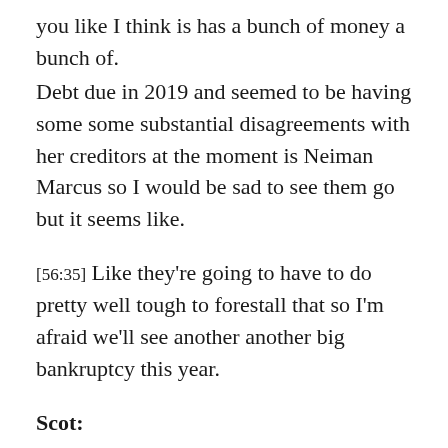you like I think is has a bunch of money a bunch of.
Debt due in 2019 and seemed to be having some some substantial disagreements with her creditors at the moment is Neiman Marcus so I would be sad to see them go but it seems like.
[56:35] Like they're going to have to do pretty well tough to forestall that so I'm afraid we'll see another another big bankruptcy this year.
Scot:
[56:43] How many demons are there are they only like four big cities room.
Jason: